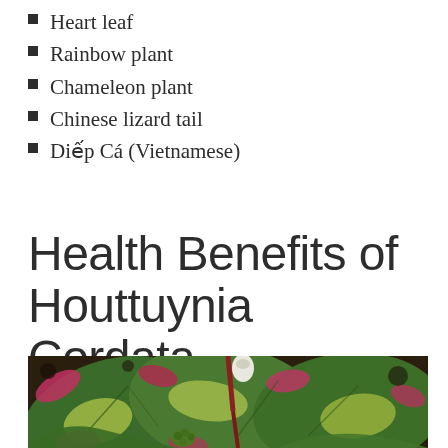Heart leaf
Rainbow plant
Chameleon plant
Chinese lizard tail
Diếp Cá (Vietnamese)
Health Benefits of Houttuynia Cordata
[Figure (photo): Close-up photo of Houttuynia cordata (chameleon plant) showing heart-shaped leaves with green, yellow, and red/pink variegation, with a small white flower bud and green seed cluster visible.]